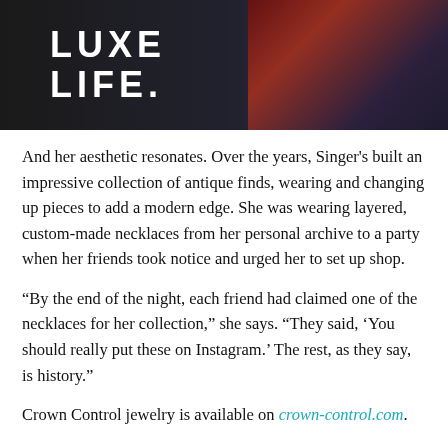[Figure (photo): Fashion photo with text overlay reading 'LUXE LIFE.' on a dark background with a floral dress visible on the right side.]
And her aesthetic resonates. Over the years, Singer's built an impressive collection of antique finds, wearing and changing up pieces to add a modern edge. She was wearing layered, custom-made necklaces from her personal archive to a party when her friends took notice and urged her to set up shop.
“By the end of the night, each friend had claimed one of the necklaces for her collection,” she says. “They said, ‘You should really put these on Instagram.’ The rest, as they say, is history.”
Crown Control jewelry is available on crown-control.com.